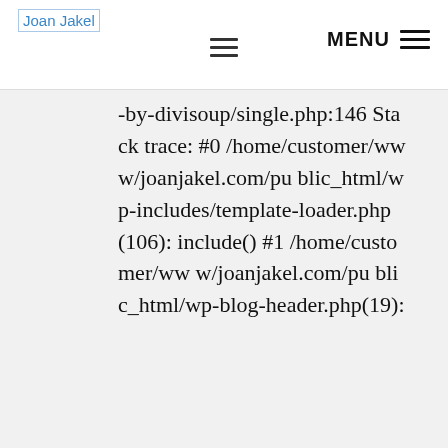Joan Jakel | MENU
-by-divisoup/single.php:146 Stack trace: #0 /home/customer/www/joanjakel.com/public_html/wp-includes/template-loader.php(106): include() #1 /home/customer/www/joanjakel.com/public_html/wp-blog-header.php(19):